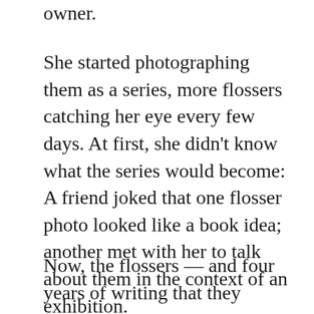owner.
She started photographing them as a series, more flossers catching her eye every few days. At first, she didn’t know what the series would become: A friend joked that one flosser photo looked like a book idea; another met with her to talk about them in the context of an exhibition.
Now, the flossers — and four years of writing that they accompany — are